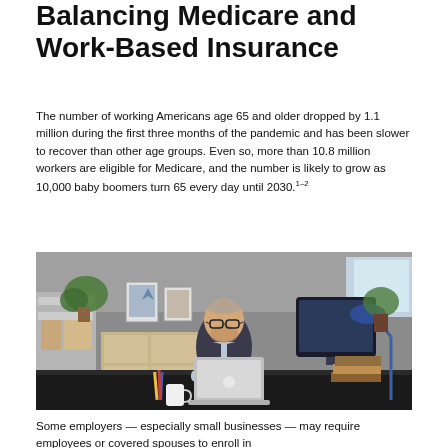Balancing Medicare and Work-Based Insurance
The number of working Americans age 65 and older dropped by 1.1 million during the first three months of the pandemic and has been slower to recover than other age groups. Even so, more than 10.8 million workers are eligible for Medicare, and the number is likely to grow as 10,000 baby boomers turn 65 every day until 2030.1–2
[Figure (photo): An older man with glasses and a beard sits at a dark desk working on a laptop in a home office setting with plants, shelves, and a desk lamp in the background.]
Some employers — especially small businesses — may require employees or covered spouses to enroll in